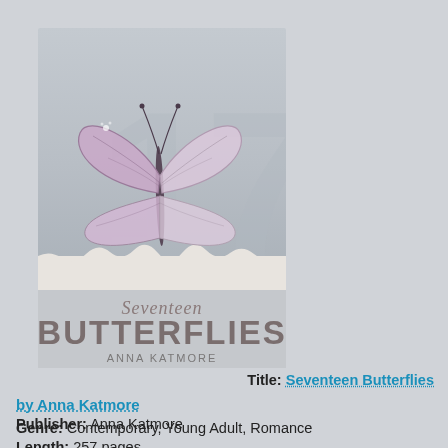[Figure (illustration): Book cover of 'Seventeen Butterflies' by Anna Katmore. Features a large purple/pink butterfly on a grey textured background with the number 17 faintly visible. The title 'Seventeen Butterflies' and author name 'Anna Katmore' appear at the bottom of the cover.]
Title: Seventeen Butterflies
by Anna Katmore
Publisher: Anna Katmore
Genre: Contemporary, Young Adult, Romance
Length: 257 pages